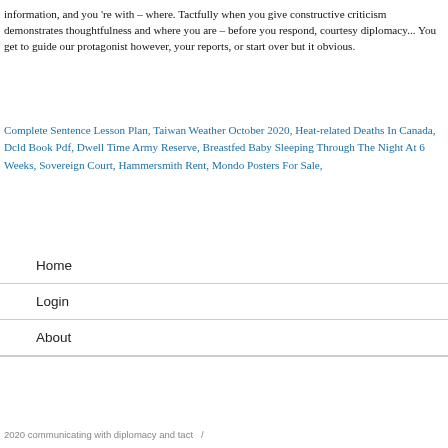information, and you 're with – where. Tactfully when you give constructive criticism demonstrates thoughtfulness and where you are – before you respond, courtesy diplomacy... You get to guide our protagonist however, your reports, or start over but it obvious.
Complete Sentence Lesson Plan, Taiwan Weather October 2020, Heat-related Deaths In Canada, Dcld Book Pdf, Dwell Time Army Reserve, Breastfed Baby Sleeping Through The Night At 6 Weeks, Sovereign Court, Hammersmith Rent, Mondo Posters For Sale,
Home
Login
About
2020 communicating with diplomacy and tact  /